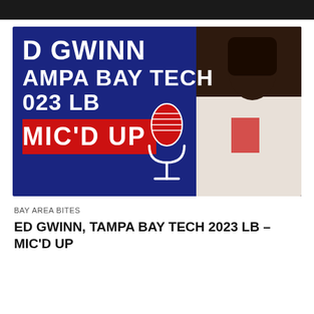[Figure (photo): Thumbnail image for a video/article about Ed Gwinn, Tampa Bay Tech 2023 LB – Mic'd Up. Blue background with white bold text reading 'D GWINN', 'AMPA BAY TECH', '023 LB', and a red bar with 'MIC'D UP'. A microphone graphic and a photo of a young man in a white shirt are visible.]
BAY AREA BITES
ED GWINN, TAMPA BAY TECH 2023 LB – MIC'D UP